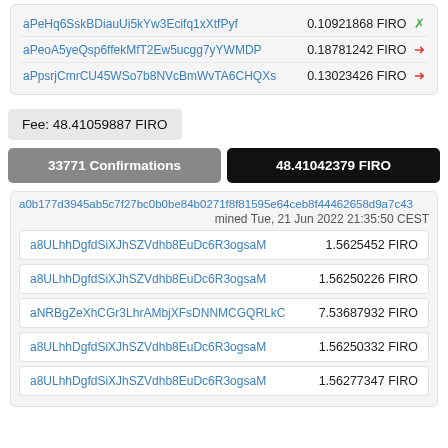| Address | Amount |
| --- | --- |
| aPeHq6SskBDiauUi5kYw3Ecifq1xXtfPyf | 0.10921868 FIRO ✗ |
| aPeoA5yeQsp6ffekMfT2Ew5ucgg7yYWMDP | 0.18781242 FIRO → |
| aPpsrjCmrCU45WSo7b8NVcBmWvTA6CHQXs | 0.13023426 FIRO → |
Fee: 48.41059887 FIRO
33771 Confirmations
48.41042379 FIRO
a0b177d3945ab5c7f27bc0b0be84b0271f8f81595e64ceb8f44462658d9a7c43
mined Tue, 21 Jun 2022 21:35:50 CEST
| Address | Amount |
| --- | --- |
| a8ULhhDgfdSiXJhSZVdhb8EuDc6R3ogsaM | 1.5625452 FIRO |
| a8ULhhDgfdSiXJhSZVdhb8EuDc6R3ogsaM | 1.56250226 FIRO |
| aNRBgZeXhCGr3LhrAMbjXFsDNNMCGQRLkC | 7.53687932 FIRO |
| a8ULhhDgfdSiXJhSZVdhb8EuDc6R3ogsaM | 1.56250332 FIRO |
| a8ULhhDgfdSiXJhSZVdhb8EuDc6R3ogsaM | 1.56277347 FIRO |